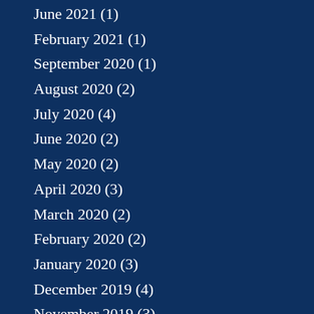June 2021 (1)
February 2021 (1)
September 2020 (1)
August 2020 (2)
July 2020 (4)
June 2020 (2)
May 2020 (2)
April 2020 (3)
March 2020 (2)
February 2020 (2)
January 2020 (3)
December 2019 (4)
November 2019 (3)
October 2019 (2)
September 2019 (3)